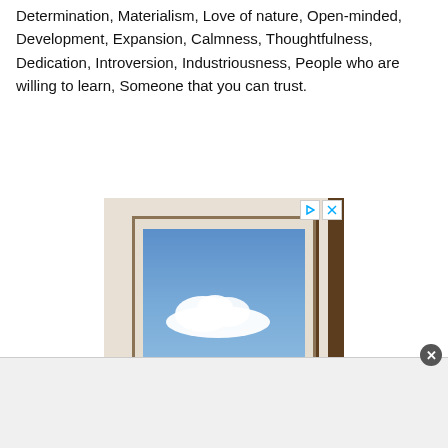Determination, Materialism, Love of nature, Open-minded, Development, Expansion, Calmness, Thoughtfulness, Dedication, Introversion, Industriousness, People who are willing to learn, Someone that you can trust.
[Figure (illustration): Advertisement banner showing a painting of clouds visible through a window frame. Below the image: 'Beautiful Clouds...' in bold, with 'An original collection of' and a 'Shop Now >' button alongside a logo.]